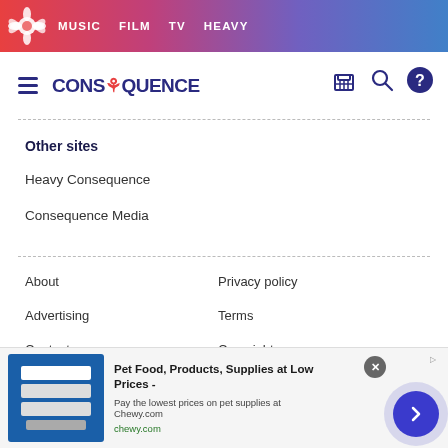MUSIC  FILM  TV  HEAVY
[Figure (logo): Consequence website logo with flower icon and navigation icons]
Other sites
Heavy Consequence
Consequence Media
About
Privacy policy
Advertising
Terms
Contact
Copyright
[Figure (screenshot): Advertisement banner: Pet Food, Products, Supplies at Low Prices - chewy.com]